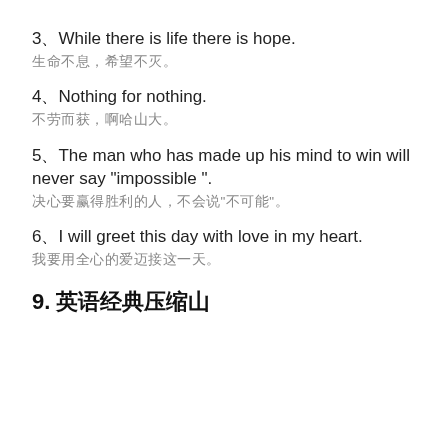3、While there is life there is hope.
生命不息，希望不灭。
4、Nothing for nothing.
不劳而获，啊哈山大。
5、The man who has made up his mind to win will never say “impossible ”.
决心要赢得胜利的人，不会说“不可能”。
6、I will greet this day with love in my heart.
我要用全心的爱迈接这一天。
9. 英语经典压续山